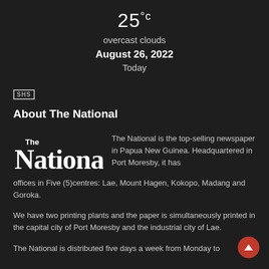25°c
overcast clouds
August 26, 2022
Today
SHS
About The National
[Figure (logo): The National newspaper logo — white bold serif text on dark background]
The National is the top-selling newspaper in Papua New Guinea. Headquartered in Port Moresby, it has offices in Five (5)centres: Lae, Mount Hagen, Kokopo, Madang and Goroka.
We have two printing plants and the paper is simultaneously printed in the capital city of Port Moresby and the industrial city of Lae.
The National is distributed five days a week from Monday to